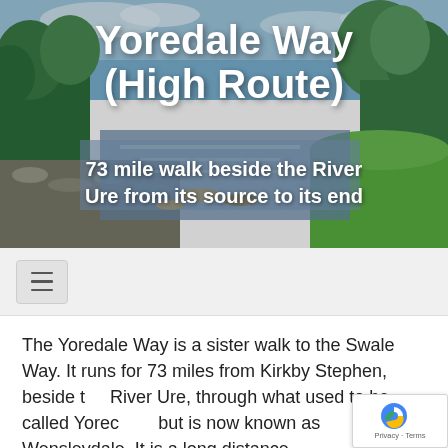[Figure (photo): Hero banner showing a river scene with green trees and grass, rocky riverbed, used as background for the Yoredale Way page title]
Yoredale Way (High Route)
73 mile walk beside the River Ure from its source to its end
[Figure (screenshot): Navigation bar with hamburger menu icon on light grey background]
The Yoredale Way is a sister walk to the Swale Way. It runs for 73 miles from Kirkby Stephen, beside the River Ure, through what used to be called Yorec but is now known as Wensleydale. It is a long distance